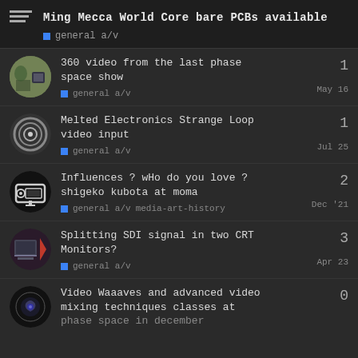Ming Mecca World Core bare PCBs available
general a/v
360 video from the last phase space show
general a/v
May 16
1
Melted Electronics Strange Loop video input
general a/v
Jul 25
1
Influences ? wHo do you love ? shigeko kubota at moma
general a/v  media-art-history
Dec '21
2
Splitting SDI signal in two CRT Monitors?
general a/v
Apr 23
3
Video Waaaves and advanced video mixing techniques classes at phase space in december
0